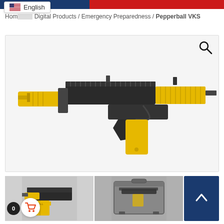Top navigation bar with language selector: English (US flag)
Home / ... / Digital Products / Emergency Preparedness / Pepperball VKS
[Figure (photo): Product photo of a Pepperball VKS launcher — an AR-style less-lethal weapon with yellow stock and foregrip/magazine, black upper receiver and barrel, shown in profile against white background. A magnifying glass (search) icon appears in the upper right of the image box.]
[Figure (photo): Thumbnail 1: Close-up of yellow Pepperball VKS magazine/forend area of the weapon]
[Figure (photo): Thumbnail 2: Pepperball VKS in a gray hard carrying case]